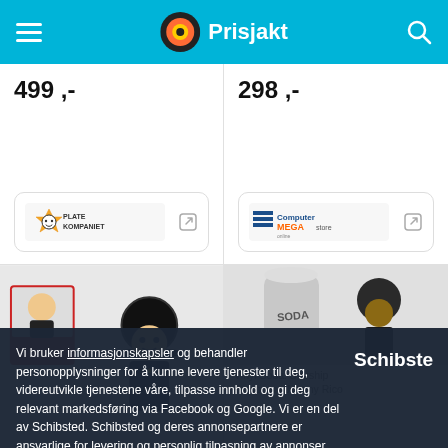Prisjakt
499 ,-
[Figure (logo): Platekompaniet store logo]
298 ,-
[Figure (logo): ComputerSalg online MEGAstore logo]
[Figure (photo): Funko Pop police officer figure product image]
[Figure (photo): Vinyl Soda Starship Troopers Johnny Rico product image]
Vi bruker informasjonskapsler og behandler personopplysninger for å kunne levere tjenester til deg, videreutvikle tjenestene våre, tilpasse innhold og gi deg relevant markedsføring via Facebook og Google. Vi er en del av Schibsted. Schibsted og deres annonsepartnere er ansvarlige for levering og personlig tilpasning av annonser på Prisjakt og andre Schibsted-nettsteder.
Godta
Mine valg
£12.99